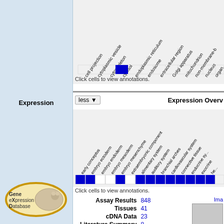[Figure (other): GO annotation heatmap chart with rotated column headers including cell projection, cytoplasmic vesicle, cytoskeleton, cytosol, endoplasmic reticulum, endosome, extracellular region, Golgi apparatus, mitochondrion, non-membrane, nucleus, organelle. One blue filled cell visible under cytosol column.]
Click cells to view annotations.
Expression
less ▼
Expression Overv...
[Figure (other): Expression overview heatmap with rotated column headers: early conceptus, embryo ectoderm, embryo endoderm, embryo mesoderm, embryo mesenchyme, extraembryonic component, alimentary system, auditory system, branchial arches, cardiovascular system, connective tissue, endocrine system, exocrine. Blue cells indicating expression in most columns.]
Click cells to view annotations.
| Label | Value |
| --- | --- |
| Assay Results | 848 |
| Tissues | 41 |
| cDNA Data | 23 |
| Literature Summary | 8 |
[Figure (logo): Gene eXpression Database (GXD) logo - oval with gold border containing mouse image and text Gene eXpression Database]